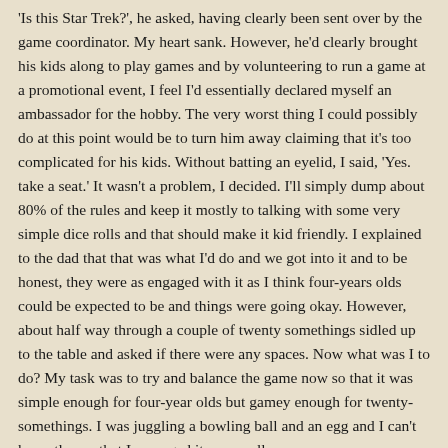'Is this Star Trek?', he asked, having clearly been sent over by the game coordinator. My heart sank. However, he'd clearly brought his kids along to play games and by volunteering to run a game at a promotional event, I feel I'd essentially declared myself an ambassador for the hobby. The very worst thing I could possibly do at this point would be to turn him away claiming that it's too complicated for his kids. Without batting an eyelid, I said, 'Yes. take a seat.' It wasn't a problem, I decided. I'll simply dump about 80% of the rules and keep it mostly to talking with some very simple dice rolls and that should make it kid friendly. I explained to the dad that that was what I'd do and we got into it and to be honest, they were as engaged with it as I think four-years olds could be expected to be and things were going okay. However, about half way through a couple of twenty somethings sidled up to the table and asked if there were any spaces. Now what was I to do? My task was to try and balance the game now so that it was simple enough for four-year olds but gamey enough for twenty-somethings. I was juggling a bowling ball and an egg and I can't honestly say that I managed it very well. They all stuck it out until the end of the scenario and